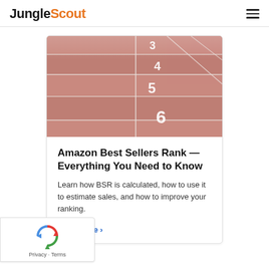JungleScout
[Figure (photo): Aerial view of a red running track showing lane numbers 3, 4, 5, and 6 with white lane markings]
Amazon Best Sellers Rank — Everything You Need to Know
Learn how BSR is calculated, how to use it to estimate sales, and how to improve your ranking.
Read more ›